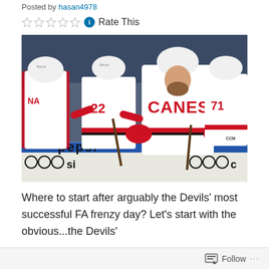Posted by hasan4978
Rate This
[Figure (photo): Carolina Hurricanes hockey players in white CANES jerseys celebrating at the bench, high-fiving each other. A bearded player in the foreground faces camera. Players wearing numbers 22 and 71 visible. Arena with blue boards visible.]
Where to start after arguably the Devils' most successful FA frenzy day? Let's start with the obvious...the Devils'